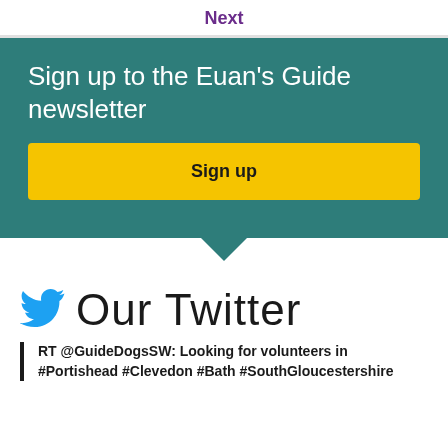Next
Sign up to the Euan's Guide newsletter
Sign up
Our Twitter
RT @GuideDogsSW: Looking for volunteers in #Portishead #Clevedon #Bath #SouthGloucestershire